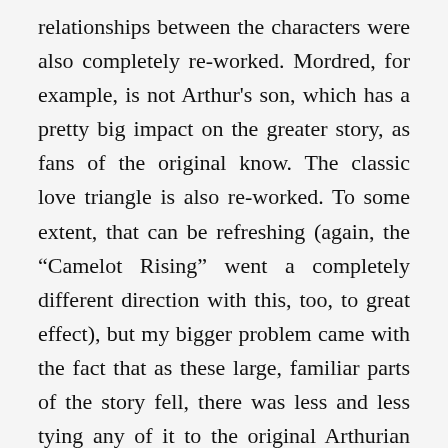relationships between the characters were also completely re-worked. Mordred, for example, is not Arthur's son, which has a pretty big impact on the greater story, as fans of the original know. The classic love triangle is also re-worked. To some extent, that can be refreshing (again, the “Camelot Rising” went a completely different direction with this, too, to great effect), but my bigger problem came with the fact that as these large, familiar parts of the story fell, there was less and less tying any of it to the original Arthurian epic. Even small things, like the fact that Merlin seemed to either not really care about the events going on around or him or actively root against Arthur as king, just felt off to the point of distraction.